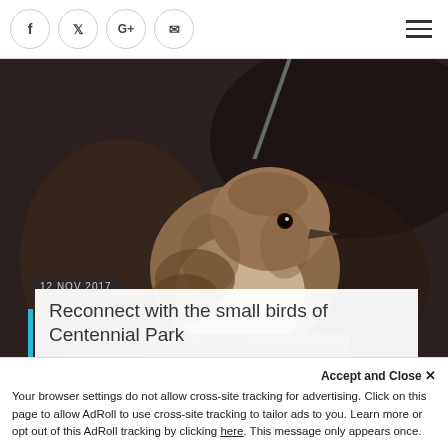Social icons: f, Twitter, G+, email. Hamburger menu.
[Figure (photo): Close-up photo of a small fluffy brown bird (likely a wren or similar small bird) perched on a branch, with dark blurred background and a thin twig visible above.]
12 NOV 2017
Reconnect with the small birds of Centennial Park
Accept and Close ✕
Your browser settings do not allow cross-site tracking for advertising. Click on this page to allow AdRoll to use cross-site tracking to tailor ads to you. Learn more or opt out of this AdRoll tracking by clicking here. This message only appears once.